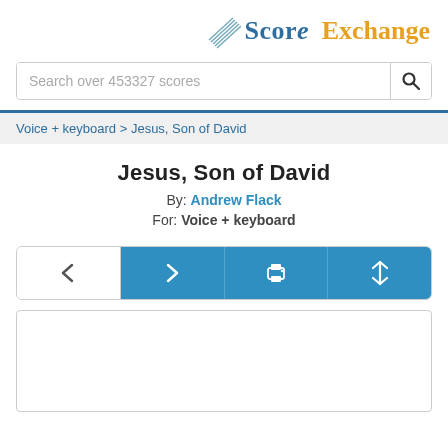Score Exchange
Search over 453327 scores
Voice + keyboard > Jesus, Son of David
Jesus, Son of David
By: Andrew Flack
For: Voice + keyboard
[Figure (screenshot): Navigation toolbar with back, forward, print, and resize buttons. First button is white with left chevron, remaining three are blue with right chevron, printer icon, and up-down arrow icon.]
[Figure (screenshot): White score preview area, mostly blank white rectangle representing a music score page.]